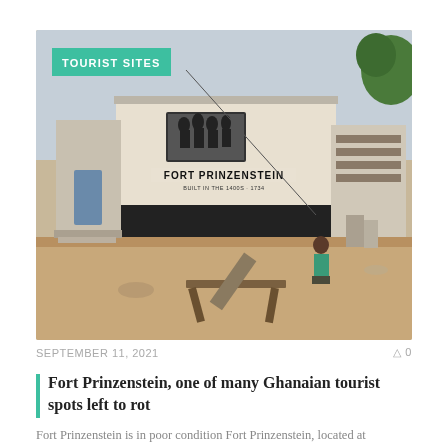[Figure (photo): Photograph of Fort Prinzenstein, a whitewashed historical fort building in Ghana with a black painted lower section. A mural and the text 'FORT PRINZENSTEIN' is painted on the front wall. A person sits near the entrance. Sandy courtyard in foreground with wooden benches. Green label 'TOURIST SITES' overlaid in upper left.]
SEPTEMBER 11, 2021
0
Fort Prinzenstein, one of many Ghanaian tourist spots left to rot
Fort Prinzenstein is in poor condition Fort Prinzenstein, located at